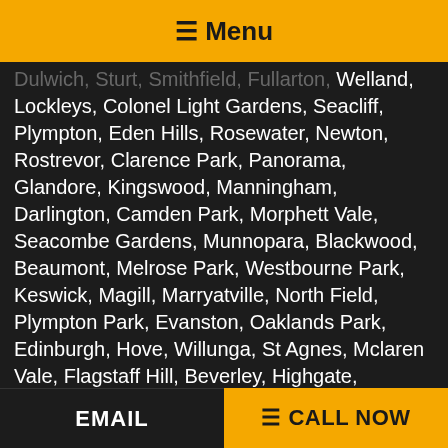☰ Menu
Dulwich, Sturt, Smithfield, Fullarton, Welland, Lockleys, Colonel Light Gardens, Seacliff, Plympton, Eden Hills, Rosewater, Newton, Rostrevor, Clarence Park, Panorama, Glandore, Kingswood, Manningham, Darlington, Camden Park, Morphett Vale, Seacombe Gardens, Munnopara, Blackwood, Beaumont, Melrose Park, Westbourne Park, Keswick, Magill, Marryatville, North Field, Plympton Park, Evanston, Oaklands Park, Edinburgh, Hove, Willunga, St Agnes, Mclaren Vale, Flagstaff Hill, Beverley, Highgate, Blakeview, Goodwood, Skye, Unley, Green Acres, Ingle Farm, Pennington, Glenelg, Toorak Gardens, Croydon, Fulham Gardens, Hillcrest, Daw Park, St Peters, Tennyson, Elizabeth, Elizabeth South, Alberton, College Park,
EMAIL   ☰ CALL NOW